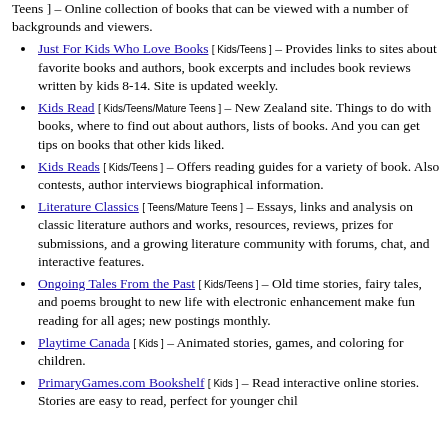Teens ] – Online collection of books that can be viewed with a number of backgrounds and viewers.
Just For Kids Who Love Books [ Kids/Teens ] – Provides links to sites about favorite books and authors, book excerpts and includes book reviews written by kids 8-14. Site is updated weekly.
Kids Read [ Kids/Teens/Mature Teens ] – New Zealand site. Things to do with books, where to find out about authors, lists of books. And you can get tips on books that other kids liked.
Kids Reads [ Kids/Teens ] – Offers reading guides for a variety of book. Also contests, author interviews biographical information.
Literature Classics [ Teens/Mature Teens ] – Essays, links and analysis on classic literature authors and works, resources, reviews, prizes for submissions, and a growing literature community with forums, chat, and interactive features.
Ongoing Tales From the Past [ Kids/Teens ] – Old time stories, fairy tales, and poems brought to new life with electronic enhancement make fun reading for all ages; new postings monthly.
Playtime Canada [ Kids ] – Animated stories, games, and coloring for children.
PrimaryGames.com Bookshelf [ Kids ] – Read interactive online stories. Stories are easy to read, perfect for younger children.